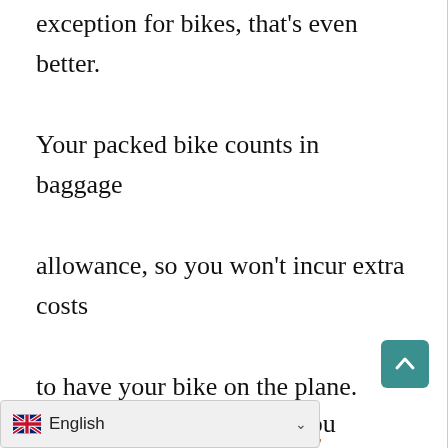exception for bikes, that's even better. Your packed bike counts in baggage allowance, so you won't incur extra costs to have your bike on the plane.
Pack Your Bike Properly
Packing a bike for overseas travel can be quite a terrifying task for any beginner. You are not sure if you'll do it well, but you still want to be the one doing it.
Th... g part, when you